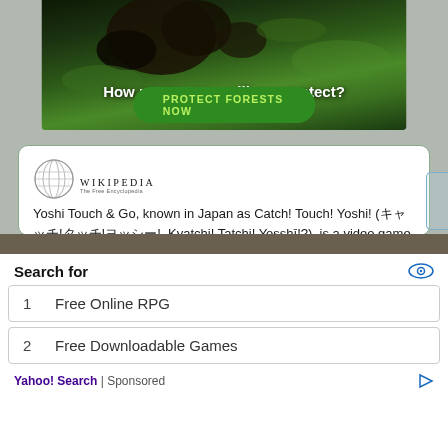[Figure (photo): Wildlife advertisement banner with dark animals (primates) on green foliage background, text overlay 'How many acres will you protect?' and green button 'PROTECT FORESTS NOW']
Yoshi Touch & Go, known in Japan as Catch! Touch! Yoshi! (キャッチ!タッチ!ヨッシー!, Kyatchi! Tatchi! Yosshī!?), is a video game that was developed and published by Nintendo for the Nintendo DS. It debut ...  more on Wikipedia
Search for
1   Free Online RPG
2   Free Downloadable Games
Yahoo! Search | Sponsored